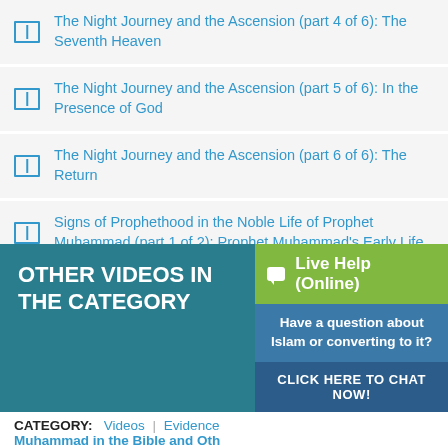The Night Journey and the Ascension (part 4 of 6): The Seventh Heaven
The Night Journey and the Ascension (part 5 of 6): In the Presence of God
The Night Journey and the Ascension (part 6 of 6): The Return
Signs of Prophethood in the Noble Life of Prophet Muhammad (part 1 of 2): Prophet Muhammad's Early Life
Signs of Prophethood in the Noble Life of Prophet Muhammad (part 2 of 2): After Prophethood
The Arabian Peninsula's Climate
OTHER VIDEOS IN THE CATEGORY
CATEGORY: Videos | Evidence Muhammad in the Bible and Oth